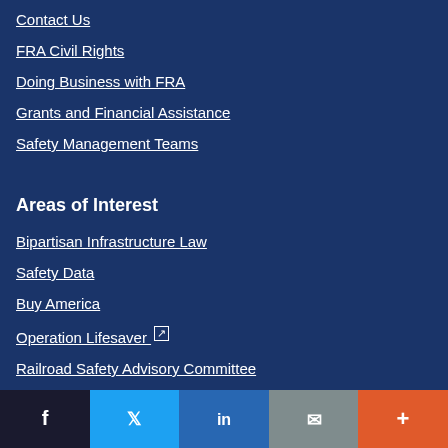Contact Us
FRA Civil Rights
Doing Business with FRA
Grants and Financial Assistance
Safety Management Teams
Areas of Interest
Bipartisan Infrastructure Law
Safety Data
Buy America
Operation Lifesaver (external link)
Railroad Safety Advisory Committee
FRA Secure Area
Facebook | Twitter | LinkedIn | Email | More